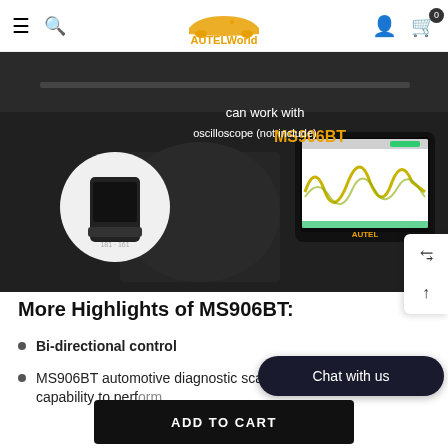AUTELWorld - navigation bar with menu, search, logo, account and cart icons
[Figure (photo): Product promotional image for Autel MS906BT diagnostic scanner. Dark background showing a mechanic working on a car engine. Text overlay reads 'can work with oscilloscope (not include) MS906BT'. A circular inset shows a small black OBD device. The main device shown is an Autel tablet displaying oscilloscope waveforms in yellow/green on screen.]
More Highlights of MS906BT:
Bi-directional control
MS906BT automotive diagnostic scanner bi-directional control capability to perf...